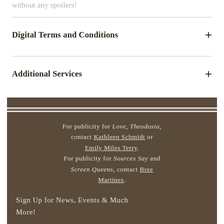without any spoilers!
Digital Terms and Conditions
Additional Services
For publicity for Love, Theodosia, contact Kathleen Schmidt or Emily Miles Terry. For publicity for Sources Say and Screen Queens, contact Bree Martinez.
Sign Up for News, Events & Much More!